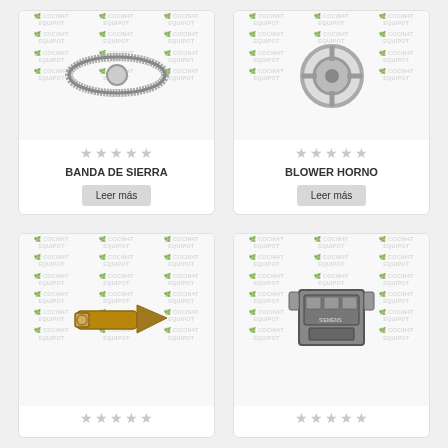[Figure (photo): Product card showing BANDA DE SIERRA (saw band/belt) with watermark background, star rating, product name, and 'Leer más' button]
[Figure (photo): Product card showing BLOWER HORNO (oven blower) with watermark background, star rating, product name, and 'Leer más' button]
[Figure (photo): Product card showing a brass bolt/fitting with watermark background and star rating (bottom half partially visible)]
[Figure (photo): Product card showing a Siemens electrical contactor with watermark background and star rating (bottom half partially visible)]